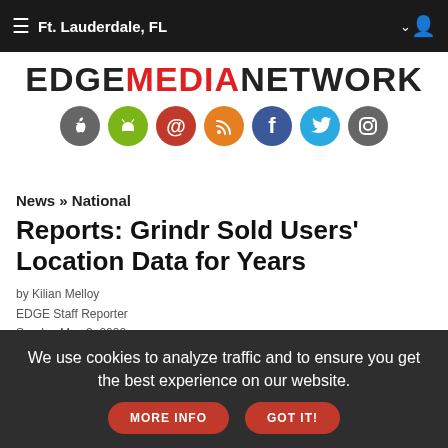≡  Ft. Lauderdale, FL  ∨
[Figure (logo): EDGE MEDIA NETWORK logo with social media icons row (Apple, Android, email, RSS, Facebook, Twitter, Instagram)]
News » National
Reports: Grindr Sold Users' Location Data for Years
by Kilian Melloy
EDGE Staff Reporter
Sunday May 8, 2022
We use cookies to analyze traffic and to ensure you get the best experience on our website.  MORE INFO  GOT IT!